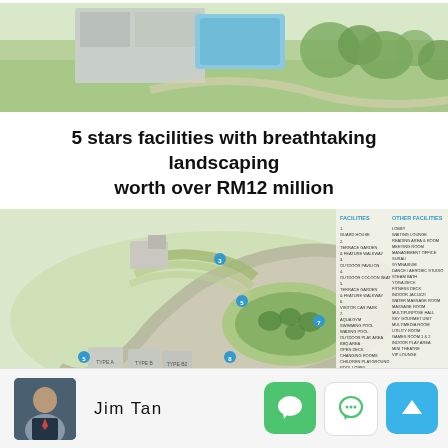[Figure (photo): Aerial/top-down view of a luxury residential development with buildings, swimming pool, and landscaping]
5 stars facilities with breathtaking landscaping worth over RM12 million
[Figure (engineering-diagram): Site plan / facilities map of a luxury residential development showing facility locations labeled with numbers and a legend listing FACILITIES and OTHER FACILITIES including guard house, terrace garden, outdoor pavilion, outdoor cocoon seat, visitor car park, aqua gym, swimming pool, wading pool, outdoor play area, BBQ area, open deck, changing rooms, children playground, pool lobby, half basketball court, tennis court, car park podium, outdoor jacuzzi; OTHER FACILITIES: lobby, waiting lounge, reading area & room, meeting room, management office, surau, gymnasium, dance/aerobic studio, steam bath, yoga deck, fitness deck, indoor jacuzzi, water massage room, massage room, multipurpose hall, Sky Gourmet Unit, multimedia room, utility room, games room 1&2, indoor play area, mini theatre, VIP lounge]
Jim Tan